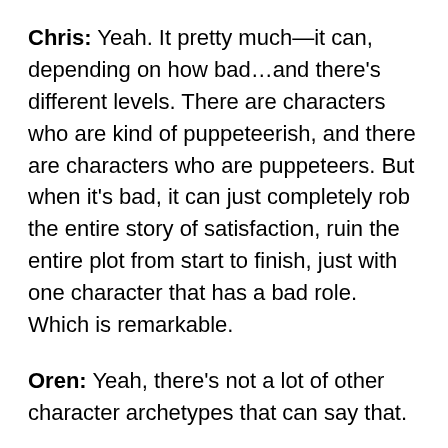Chris: Yeah. It pretty much—it can, depending on how bad…and there's different levels. There are characters who are kind of puppeteerish, and there are characters who are puppeteers. But when it's bad, it can just completely rob the entire story of satisfaction, ruin the entire plot from start to finish, just with one character that has a bad role. Which is remarkable.
Oren: Yeah, there's not a lot of other character archetypes that can say that.
Chris: So, what is a puppeteer? Specifically, a puppeteer is a side character, generally a minor protagonist, although it's not often clear that they are a protagonist in the beginning of the story. And